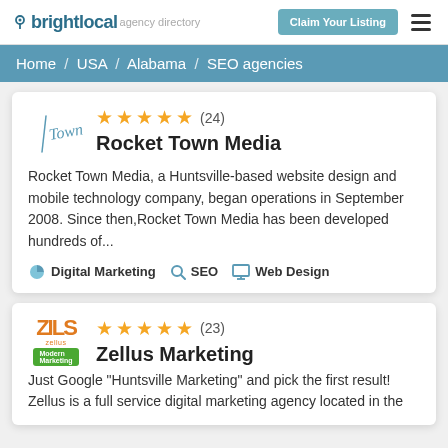brightlocal agency directory — Claim Your Listing
Home / USA / Alabama / SEO agencies
Rocket Town Media
Rocket Town Media, a Huntsville-based website design and mobile technology company, began operations in September 2008. Since then,Rocket Town Media has been developed hundreds of...
Digital Marketing  SEO  Web Design
Zellus Marketing
Just Google "Huntsville Marketing" and pick the first result! Zellus is a full service digital marketing agency located in the